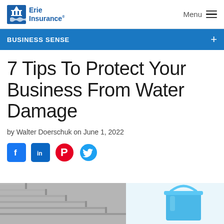Erie Insurance — Menu
BUSINESS SENSE
7 Tips To Protect Your Business From Water Damage
by Walter Doerschuk on June 1, 2022
[Figure (other): Social sharing icons: Facebook, LinkedIn, Pinterest, Twitter]
[Figure (photo): Bottom half of page showing wet concrete stairs on left and a blue bucket on the right, illustrating water damage]